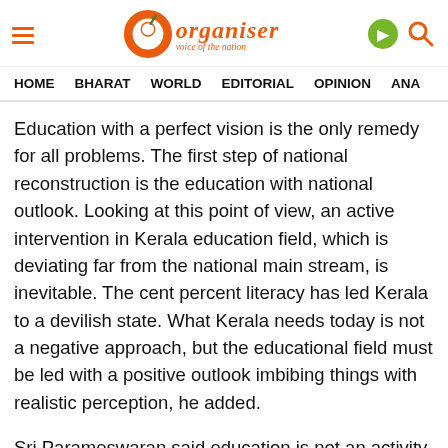Organiser — voice of the nation
HOME   BHARAT   WORLD   EDITORIAL   OPINION   ANA
Education with a perfect vision is the only remedy for all problems. The first step of national reconstruction is the education with national outlook. Looking at this point of view, an active intervention in Kerala education field, which is deviating far from the national main stream, is inevitable. The cent percent literacy has led Kerala to a devilish state. What Kerala needs today is not a negative approach, but the educational field must be led with a positive outlook imbibing things with realistic perception, he added.
Sri Parameswaran said education is not an activity limited to students only. Teachers also have a rol